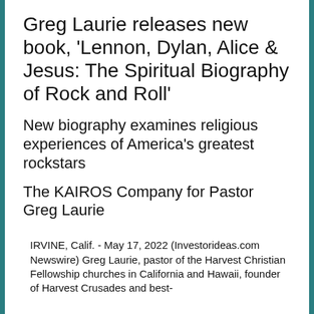Greg Laurie releases new book, 'Lennon, Dylan, Alice & Jesus: The Spiritual Biography of Rock and Roll'
New biography examines religious experiences of America's greatest rockstars
The KAIROS Company for Pastor Greg Laurie
IRVINE, Calif. - May 17, 2022 (Investorideas.com Newswire) Greg Laurie, pastor of the Harvest Christian Fellowship churches in California and Hawaii, founder of Harvest Crusades and best-